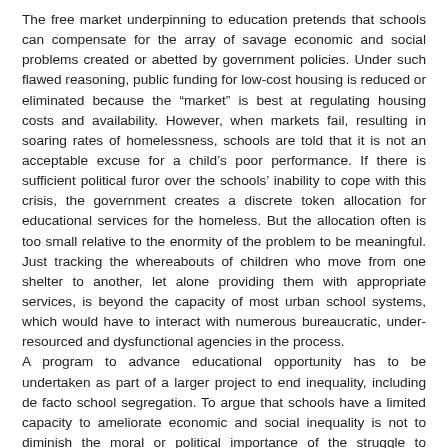The free market underpinning to education pretends that schools can compensate for the array of savage economic and social problems created or abetted by government policies. Under such flawed reasoning, public funding for low-cost housing is reduced or eliminated because the “market” is best at regulating housing costs and availability. However, when markets fail, resulting in soaring rates of homelessness, schools are told that it is not an acceptable excuse for a child’s poor performance. If there is sufficient political furor over the schools’ inability to cope with this crisis, the government creates a discrete token allocation for educational services for the homeless. But the allocation often is too small relative to the enormity of the problem to be meaningful. Just tracking the whereabouts of children who move from one shelter to another, let alone providing them with appropriate services, is beyond the capacity of most urban school systems, which would have to interact with numerous bureaucratic, under-resourced and dysfunctional agencies in the process.
A program to advance educational opportunity has to be undertaken as part of a larger project to end inequality, including de facto school segregation. To argue that schools have a limited capacity to ameliorate economic and social inequality is not to diminish the moral or political importance of the struggle to improve education. Any